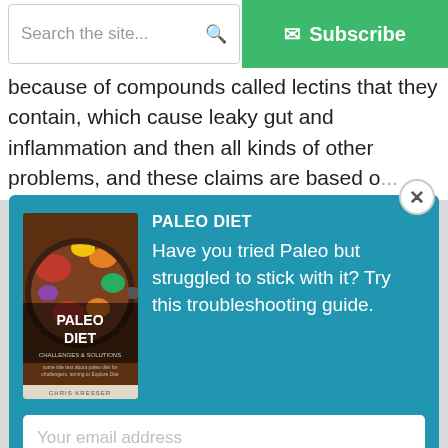Search the site... | Subscribe
because of compounds called lectins that they contain, which cause leaky gut and inflammation and then all kinds of other problems, and these claims are based o... a...
[Figure (screenshot): Modal popup with Paleo Diet book cover image, promo text, email input field, and Download Now button on a teal/blue background with close button]
PALEO DIET
Have you tried Paleo but struggled to stick with it? Try this troubleshooting guide.
Your email address
Download Now